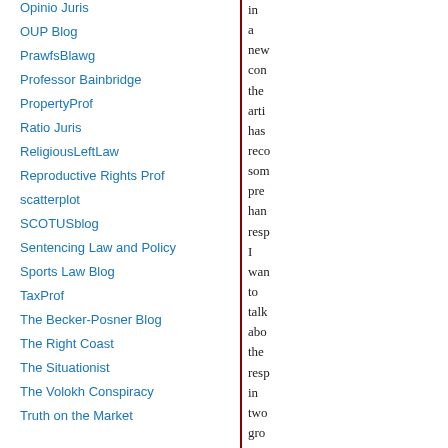Opinio Juris
OUP Blog
PrawfsBlawg
Professor Bainbridge
PropertyProf
Ratio Juris
ReligiousLeftLaw
Reproductive Rights Prof
scatterplot
SCOTUSblog
Sentencing Law and Policy
Sports Law Blog
TaxProf
The Becker-Posner Blog
The Right Coast
The Situationist
The Volokh Conspiracy
Truth on the Market
in a new con the arti has reco som pre han resp I wan to talk abo the resp in two gro